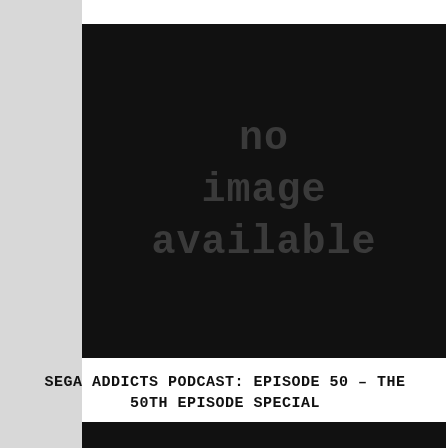[Figure (other): Black rectangle placeholder image with 'no image available' text in dark gray monospace font]
SEGA ADDICTS PODCAST: EPISODE 50 – THE 50TH EPISODE SPECIAL
[Figure (other): Black rectangle at bottom, partially visible]